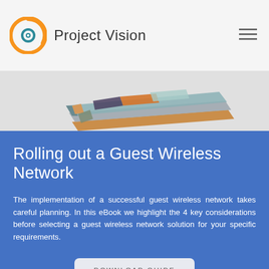Project Vision
[Figure (photo): Partial view of stacked colorful books or folders seen from above with a light gray background]
Rolling out a Guest Wireless Network
The implementation of a successful guest wireless network takes careful planning. In this eBook we highlight the 4 key considerations before selecting a guest wireless network solution for your specific requirements.
DOWNLOAD GUIDE